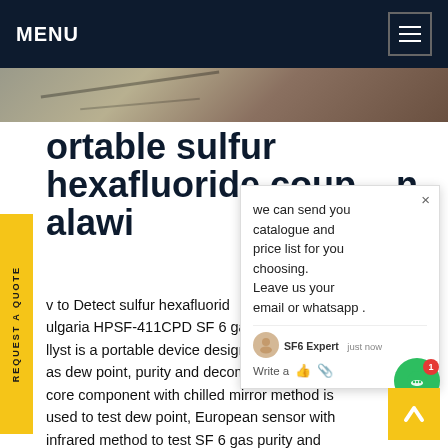MENU
[Figure (photo): Hero image strip showing an outdoor surface or ground, brownish tones]
portable sulfur hexafluoride coup in alawi
How to Detect sulfur hexafluoride ANALYZER Bulgaria HPSF-411CPD SF 6 gas comprehensive analyst is a portable device designed to measure SF gas dew point, purity and decomposition product. core component with chilled mirror method is used to test dew point, European sensor with infrared method to test SF 6 gas purity and electrochemical sensor from Membrapor to test Decomposition products.
we can send you catalogue and price list for you choosing. Leave us your email or whatsapp .